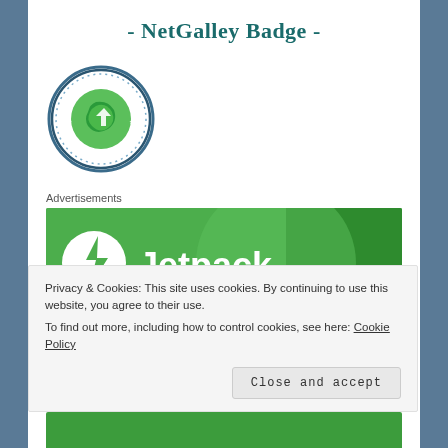- NetGalley Badge -
[Figure (logo): NetGalley Member Professional Reader circular badge with green swirl logo]
Advertisements
[Figure (logo): Jetpack advertisement banner with white Jetpack logo on green background]
Privacy & Cookies: This site uses cookies. By continuing to use this website, you agree to their use.
To find out more, including how to control cookies, see here: Cookie Policy
Close and accept